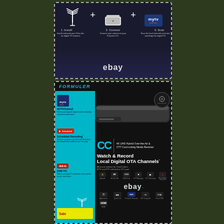[Figure (photo): Top product listing image showing 3-step setup: Install antenna, Connect to Formuler CC, Scan for channels. Contains eBay watermark. Steps labeled 1. Install, 2. Connect, 3. Scan with myTV Online logo.]
[Figure (photo): Formuler CC product box image. Shows the CC media receiver device. Left teal panel with MYTVOnline2, Scheduled Recording, DVB-T/C features. Right panel shows CC logo with text '4K UHD Hybrid Over-the-Air & OTT Cord-cutting Media Receiver', 'Watch & Record Local Digital OTA Channels'. Contains eBay watermark. Feature icons: Android, 4K Ultra HD, DVB Tuner, IPTV Manager, OTT Streaming, Recording & Time-shift, Applications, Quad Core, Premium Channels, WiFi Integrated, Smart OTA, HDMI. DVB-T/C Tuner badge in top right.]